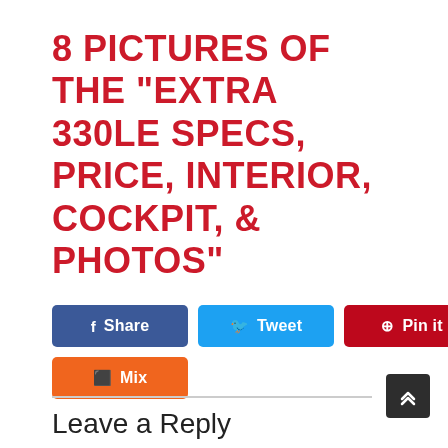8 PICTURES OF THE "EXTRA 330LE SPECS, PRICE, INTERIOR, COCKPIT, & PHOTOS"
[Figure (infographic): Social sharing buttons row 1: Facebook Share, Twitter Tweet, Pinterest Pin it, LinkedIn Share; row 2: Mix Share]
Leave a Reply